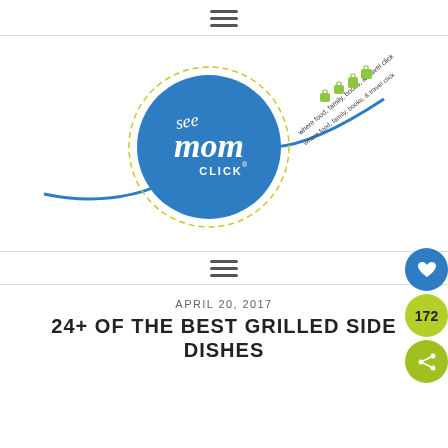≡ (hamburger menu icon)
[Figure (logo): See Mom Click logo — blue circle with cursive 'see mom CLICK' text, dashed circle border, blue swoosh line, green travel icons, tagline 'where food, family, books, & travel click']
≡ (hamburger menu icon)
APRIL 20, 2017
24+ OF THE BEST GRILLED SIDE DISHES